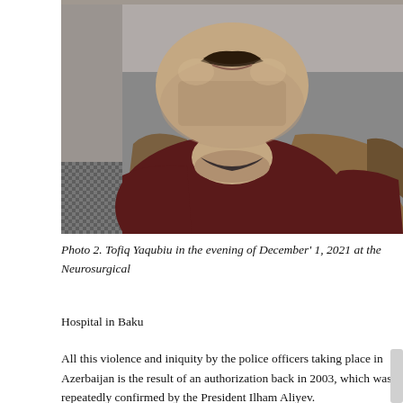[Figure (photo): Close-up photograph of a man's face from the nose down, showing a mustache, stubble/beard, neck area. He is wearing a dark red/burgundy sweater and a tan/brown jacket. The image appears to document physical appearance, possibly for a human rights or legal report.]
Photo 2. Tofiq Yaqubiu in the evening of December' 1, 2021 at the Neurosurgical Hospital in Baku
All this violence and iniquity by the police officers taking place in Azerbaijan is the result of an authorization back in 2003, which was repeatedly confirmed by the President Ilham Aliyev.